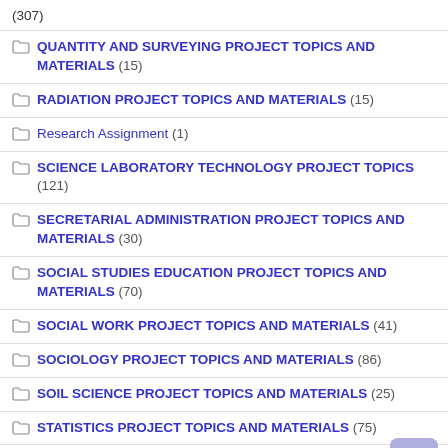(307)
QUANTITY AND SURVEYING PROJECT TOPICS AND MATERIALS (15)
RADIATION PROJECT TOPICS AND MATERIALS (15)
Research Assignment (1)
SCIENCE LABORATORY TECHNOLOGY PROJECT TOPICS (121)
SECRETARIAL ADMINISTRATION PROJECT TOPICS AND MATERIALS (30)
SOCIAL STUDIES EDUCATION PROJECT TOPICS AND MATERIALS (70)
SOCIAL WORK PROJECT TOPICS AND MATERIALS (41)
SOCIOLOGY PROJECT TOPICS AND MATERIALS (86)
SOIL SCIENCE PROJECT TOPICS AND MATERIALS (25)
STATISTICS PROJECT TOPICS AND MATERIALS (75)
TEAM PAPER (1)
THEATRE ARTS PROJECT TOPICS AND MATERIALS (29)